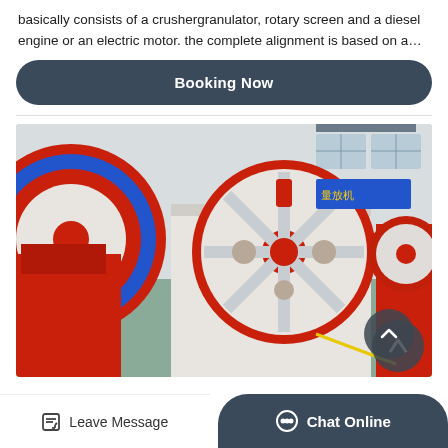basically consists of a crushergranulator, rotary screen and a diesel engine or an electric motor. the complete alignment is based on a…
Booking Now
[Figure (photo): Industrial jaw crusher machinery in a factory setting. Large red and white crusher with red flywheel ring visible in foreground, additional crushers visible in background of industrial warehouse.]
Leave Message
Chat Online